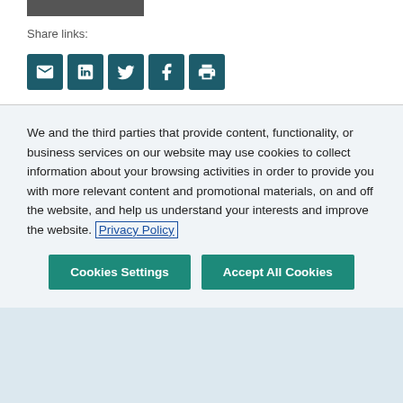[Figure (photo): Partial photo of a person in a suit at the top of the page]
Share links:
[Figure (infographic): Five social sharing icon buttons: email, LinkedIn, Twitter, Facebook, print — teal/dark background square buttons]
Related Perspectives
We and the third parties that provide content, functionality, or business services on our website may use cookies to collect information about your browsing activities in order to provide you with more relevant content and promotional materials, on and off the website, and help us understand your interests and improve the website. Privacy Policy
Cookies Settings
Accept All Cookies